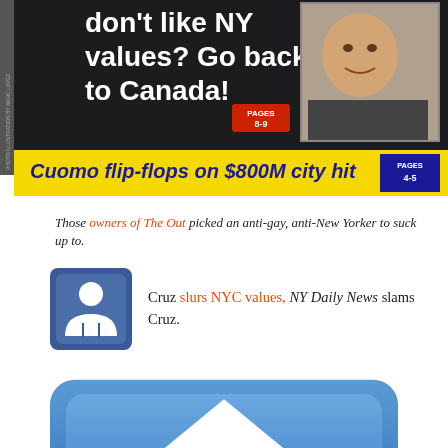[Figure (screenshot): NY Daily News front page screenshot showing headline: don't like NY values? Go back to Canada! PAGES 8-9, with photo of Ted Cruz, and banner: Cuomo flip-flops on $800M city hit PAGES 4-5]
Those owners of The Out picked an anti-gay, anti-New Yorker to suck up to.
[Figure (screenshot): Social media post with avatar icon: Cruz slurs NYC values, NY Daily News slams Cruz.]
[Figure (illustration): Large blue rounded square icon with white upward-pointing arrow (share/upload icon)]